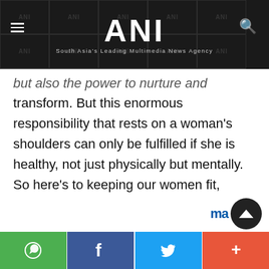ANI — South Asia's Leading Multimedia News Agency
but also the power to nurture and transform. But this enormous responsibility that rests on a woman's shoulders can only be fulfilled if she is healthy, not just physically but mentally. So here's to keeping our women fit, happy, and healthy. Here's to having each other's back. Wishing every woman a very Happy International Women's Health Day."
Social share bar: WhatsApp, Facebook, Twitter, More